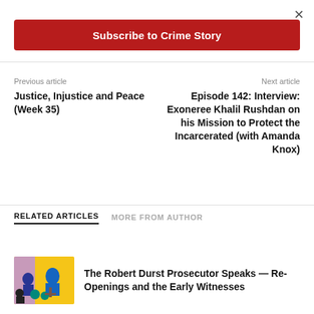×
Subscribe to Crime Story
Previous article
Next article
Justice, Injustice and Peace (Week 35)
Episode 142: Interview: Exoneree Khalil Rushdan on his Mission to Protect the Incarcerated (with Amanda Knox)
RELATED ARTICLES    MORE FROM AUTHOR
[Figure (illustration): Illustrated courtroom scene with figures in blue and yellow tones]
The Robert Durst Prosecutor Speaks — Re-Openings and the Early Witnesses